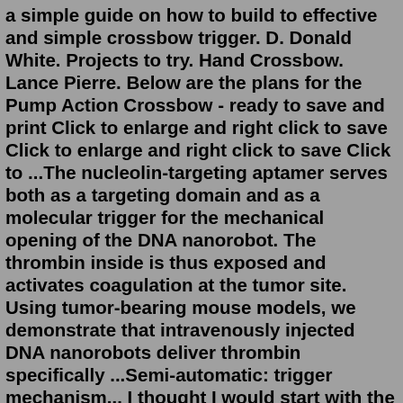a simple guide on how to build to effective and simple crossbow trigger. D. Donald White. Projects to try. Hand Crossbow. Lance Pierre. Below are the plans for the Pump Action Crossbow - ready to save and print Click to enlarge and right click to save Click to enlarge and right click to save Click to ...The nucleolin-targeting aptamer serves both as a targeting domain and as a molecular trigger for the mechanical opening of the DNA nanorobot. The thrombin inside is thus exposed and activates coagulation at the tumor site. Using tumor-bearing mouse models, we demonstrate that intravenously injected DNA nanorobots deliver thrombin specifically ...Semi-automatic: trigger mechanism... I thought I would start with the most complex mechanical part, i.e. the trigger. The mechanical idea for this gun is not original. ... RepRap - The Viral 3d Printer. Midwest RepRap Festival: Video 4 of 6 | 14:34 This is the 14 minute RepRap documentary from my trip to MRRF. You (my subscribers) and th...PDF | Microbiota analysis is a fundamental element for a better